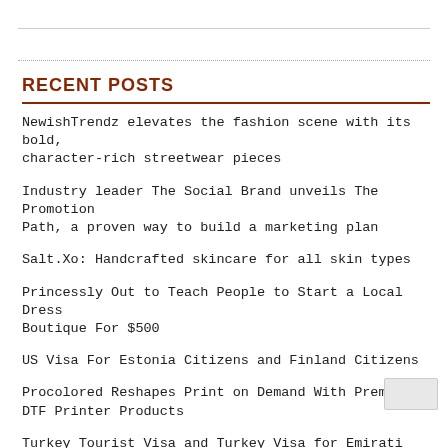RECENT POSTS
NewishTrendz elevates the fashion scene with its bold, character-rich streetwear pieces
Industry leader The Social Brand unveils The Promotion Path, a proven way to build a marketing plan
Salt.Xo: Handcrafted skincare for all skin types
Princessly Out to Teach People to Start a Local Dress Boutique For $500
US Visa For Estonia Citizens and Finland Citizens
Procolored Reshapes Print on Demand With Premium DTF Printer Products
Turkey Tourist Visa and Turkey Visa for Emirati Citizens
Andrew Sallee has built a $100M real estate portfolio,